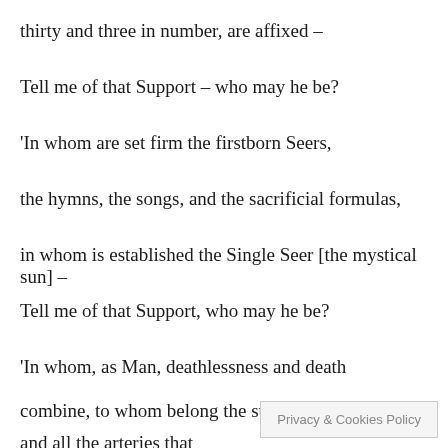thirty and three in number, are affixed –
Tell me of that Support – who may he be?
'In whom are set firm the firstborn Seers,
the hymns, the songs, and the sacrificial formulas,
in whom is established the Single Seer [the mystical sun] –
Tell me of that Support, who may he be?
'In whom, as Man, deathlessness and death
combine, to whom belong the surging ocean
and all the arteries that
Privacy & Cookies Policy